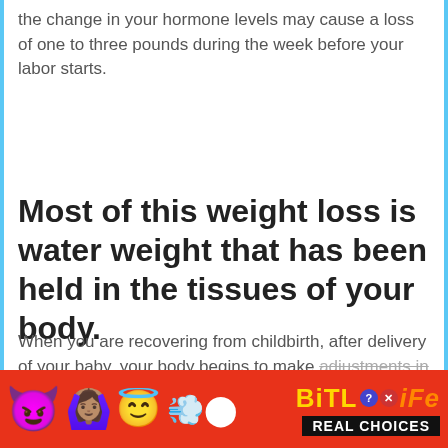the change in your hormone levels may cause a loss of one to three pounds during the week before your labor starts.
Most of this weight loss is water weight that has been held in the tissues of your body.
When you are recovering from childbirth, after delivery of your baby, your body begins to make adjustments in a bid to return to
[Figure (screenshot): BitLife mobile game advertisement banner with emoji characters (devil, woman with arms raised, angel face) on red background, BitLife logo in yellow/orange with question mark and close badges, and 'REAL CHOICES' text on black background.]